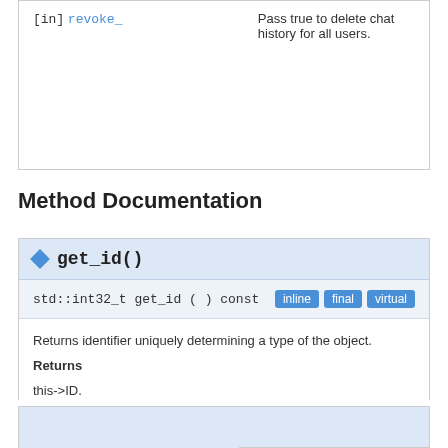| Parameter | Description |
| --- | --- |
| [in] revoke_ | Pass true to delete chat history for all users. |
Method Documentation
get_id()
std::int32_t get_id ( ) const   inline final virtual
Returns identifier uniquely determining a type of the object.
Returns
this->ID.
Implements TIObject.